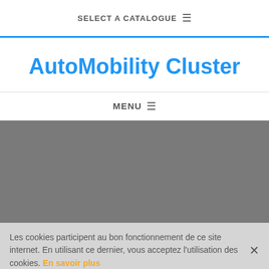SELECT A CATALOGUE ☰
AutoMobility Cluster
MENU ☰
[Figure (photo): Grey placeholder hero image area]
Les cookies participent au bon fonctionnement de ce site internet. En utilisant ce dernier, vous acceptez l'utilisation des cookies. En savoir plus